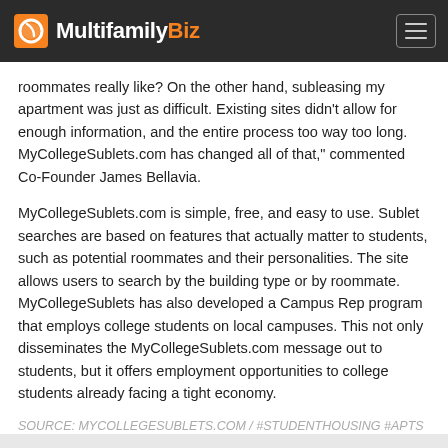MultifamilyBiz
roommates really like? On the other hand, subleasing my apartment was just as difficult. Existing sites didn't allow for enough information, and the entire process too way too long. MyCollegeSublets.com has changed all of that," commented Co-Founder James Bellavia.
MyCollegeSublets.com is simple, free, and easy to use. Sublet searches are based on features that actually matter to students, such as potential roommates and their personalities. The site allows users to search by the building type or by roommate. MyCollegeSublets has also developed a Campus Rep program that employs college students on local campuses. This not only disseminates the MyCollegeSublets.com message out to students, but it offers employment opportunities to college students already facing a tight economy.
SOURCE: MYCOLLEGESUBLETS.COM / #STUDENTHOUSING #APTS